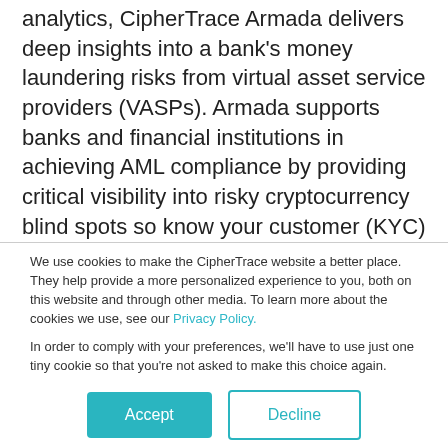analytics, CipherTrace Armada delivers deep insights into a bank's money laundering risks from virtual asset service providers (VASPs). Armada supports banks and financial institutions in achieving AML compliance by providing critical visibility into risky cryptocurrency blind spots so know your customer (KYC) processes can detect and perform due diligence on virtual asset service providers (VASPs). The CipherTrace Inspector financial investigations solution can be used to further identify risky
We use cookies to make the CipherTrace website a better place. They help provide a more personalized experience to you, both on this website and through other media. To learn more about the cookies we use, see our Privacy Policy.
In order to comply with your preferences, we'll have to use just one tiny cookie so that you're not asked to make this choice again.